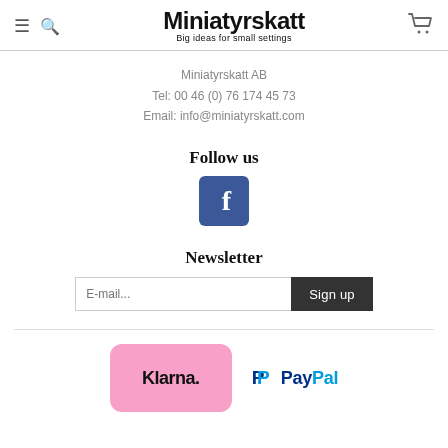Miniatyrskatt – Big ideas for small settings
Miniatyrskatt AB
Tel: 00 46 (0) 76 174 45 73
Email: info@miniatyrskatt.com
Follow us
[Figure (logo): Facebook logo icon – blue square with white letter f]
Newsletter
[Figure (other): Email input field with placeholder 'E-mail...' and a dark 'Sign up' button]
[Figure (logo): Klarna logo on pink rounded rectangle background]
[Figure (logo): PayPal logo with blue P icon and PayPal wordmark in blue]